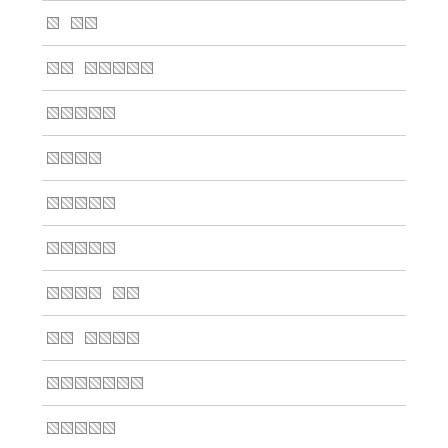[glyph] [glyph][glyph]
[glyph][glyph] [glyph][glyph][glyph][glyph][glyph]
[glyph][glyph][glyph][glyph][glyph]
[glyph][glyph][glyph][glyph]
[glyph][glyph][glyph][glyph][glyph]
[glyph][glyph][glyph][glyph][glyph]
[glyph][glyph][glyph][glyph] [glyph][glyph]
[glyph][glyph] [glyph][glyph][glyph][glyph]
[glyph][glyph][glyph][glyph][glyph][glyph][glyph]
[glyph][glyph][glyph][glyph][glyph]